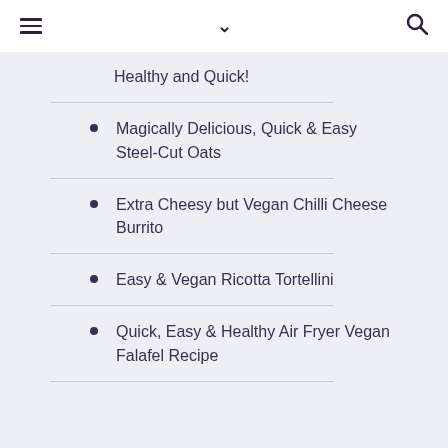≡  ∨  🔍
Healthy and Quick!
Magically Delicious, Quick & Easy Steel-Cut Oats
Extra Cheesy but Vegan Chilli Cheese Burrito
Easy & Vegan Ricotta Tortellini
Quick, Easy & Healthy Air Fryer Vegan Falafel Recipe